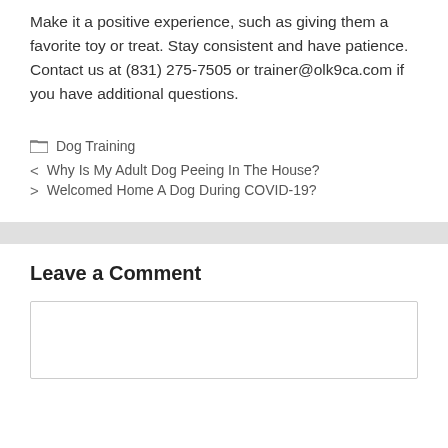Make it a positive experience, such as giving them a favorite toy or treat. Stay consistent and have patience. Contact us at (831) 275-7505 or trainer@olk9ca.com if you have additional questions.
Dog Training
Why Is My Adult Dog Peeing In The House?
Welcomed Home A Dog During COVID-19?
Leave a Comment